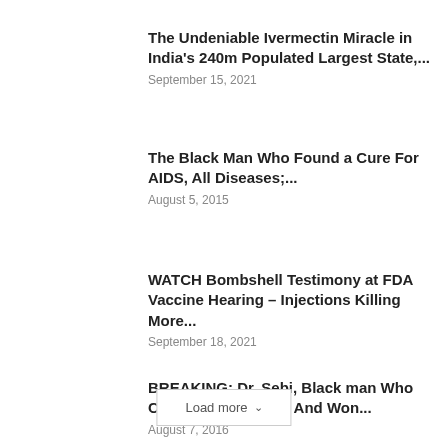The Undeniable Ivermectin Miracle in India's 240m Populated Largest State,...
September 15, 2021
The Black Man Who Found a Cure For AIDS, All Diseases;...
August 5, 2015
WATCH Bombshell Testimony at FDA Vaccine Hearing – Injections Killing More...
September 18, 2021
BREAKING: Dr. Sebi, Black man Who Cured AIDS, Cancer And Won...
August 7, 2016